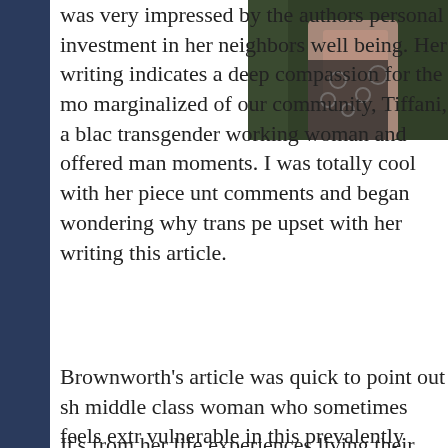[Figure (photo): Photo of a person wearing a dark patterned top with peace sign designs, cropped to show torso/neck area]
was very impressed by the authors personal investment in her neighbors well being. Her writing indicates a deep compassion for the most marginalized of our community, Tiffani, a black transgender working woman and offered many moments. I was totally cool with her piece until comments and began wondering why trans people were upset with her writing this article.
Brownworth's article was quick to point out she is a middle class woman who sometimes feels extremely vulnerable in this prevalently black part of Philadelphia.
It's from her life experiences living their that she validates her latest metaphor explaining why she